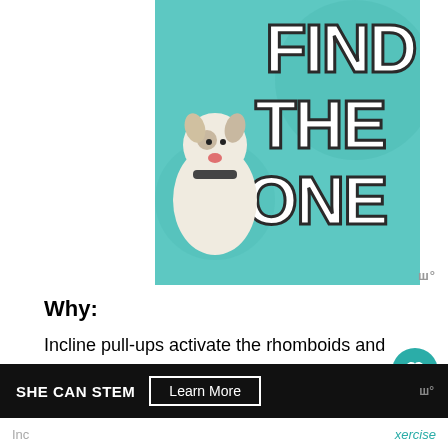[Figure (illustration): Advertisement banner showing a white dog (Boston Terrier/Pit Bull mix) sitting against a teal background with large white bold text reading FIND THE ONE, with a small heart icon. The image promotes pet adoption.]
Why:
Incline pull-ups activate the rhomboids and delts, two of the major muscles we rely on pulling anything.
SHE CAN STEM  Learn More